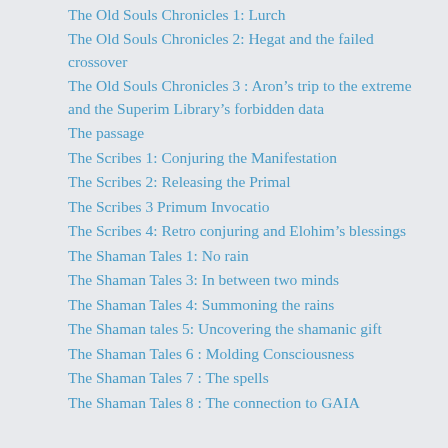The Old Souls Chronicles 1: Lurch
The Old Souls Chronicles 2: Hegat and the failed crossover
The Old Souls Chronicles 3 : Aron’s trip to the extreme and the Superim Library’s forbidden data
The passage
The Scribes 1: Conjuring the Manifestation
The Scribes 2: Releasing the Primal
The Scribes 3 Primum Invocatio
The Scribes 4: Retro conjuring and Elohim’s blessings
The Shaman Tales 1: No rain
The Shaman Tales 3: In between two minds
The Shaman Tales 4: Summoning the rains
The Shaman tales 5: Uncovering the shamanic gift
The Shaman Tales 6 : Molding Consciousness
The Shaman Tales 7 : The spells
The Shaman Tales 8 : The connection to GAIA